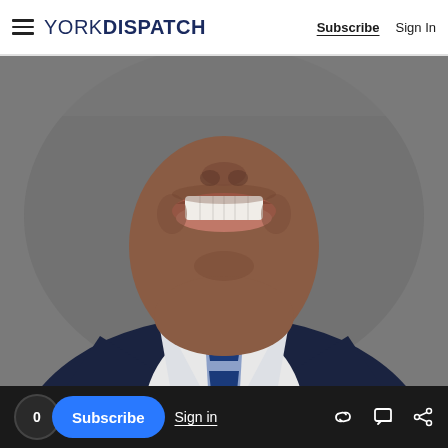YORK DISPATCH — Subscribe | Sign In
[Figure (photo): Close-up portrait photo of a young Black man smiling broadly, wearing a navy blue suit jacket with a white dress shirt and a blue and silver striped tie. The background is grey. The photo is cropped to show from chin/mouth area upward (face cut off above mouth) through the chest/shoulder area.]
0 Subscribe Sign in [link icon] [comment icon] [share icon]